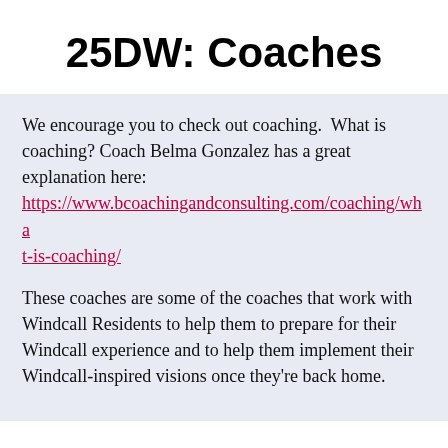25DW: Coaches
We encourage you to check out coaching.  What is coaching? Coach Belma Gonzalez has a great explanation here: https://www.bcoachingandconsulting.com/coaching/what-is-coaching/
These coaches are some of the coaches that work with Windcall Residents to help them to prepare for their Windcall experience and to help them implement their Windcall-inspired visions once they're back home.